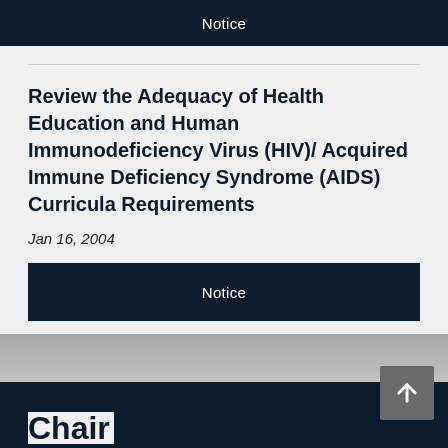Notice
Review the Adequacy of Health Education and Human Immunodeficiency Virus (HIV)/ Acquired Immune Deficiency Syndrome (AIDS) Curricula Requirements
Jan 16, 2004
Notice
Chair